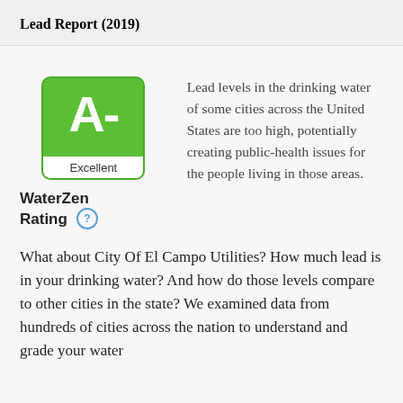Lead Report (2019)
[Figure (infographic): Grade card showing 'A-' in green with label 'Excellent' below, next to 'WaterZen Rating' label with help icon]
Lead levels in the drinking water of some cities across the United States are too high, potentially creating public-health issues for the people living in those areas.
What about City Of El Campo Utilities? How much lead is in your drinking water? And how do those levels compare to other cities in the state? We examined data from hundreds of cities across the nation to understand and grade your water